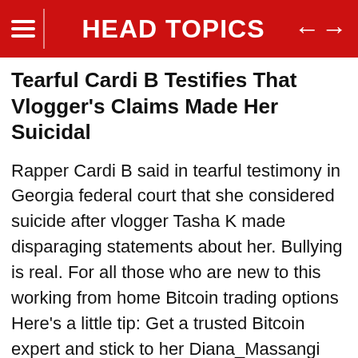HEAD TOPICS
Tearful Cardi B Testifies That Vlogger's Claims Made Her Suicidal
Rapper Cardi B said in tearful testimony in Georgia federal court that she considered suicide after vlogger Tasha K made disparaging statements about her. Bullying is real. For all those who are new to this working from home Bitcoin trading options Here's a little tip: Get a trusted Bitcoin expert and stick to her Diana_Massangi Invest and play at similar times each day. Because : In times of chaos, your investment is your anchor to success Hahahaahahahah ita